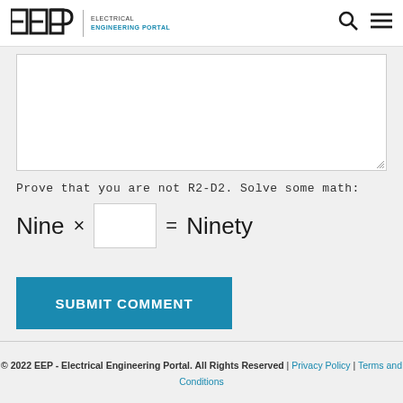EEP | ELECTRICAL ENGINEERING PORTAL
[Figure (other): Textarea comment input box with resize handle]
Prove that you are not R2-D2. Solve some math:
SUBMIT COMMENT
© 2022 EEP - Electrical Engineering Portal. All Rights Reserved | Privacy Policy | Terms and Conditions